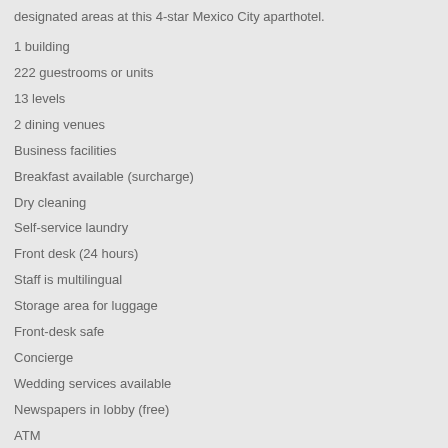designated areas at this 4-star Mexico City aparthotel.
1 building
222 guestrooms or units
13 levels
2 dining venues
Business facilities
Breakfast available (surcharge)
Dry cleaning
Self-service laundry
Front desk (24 hours)
Staff is multilingual
Storage area for luggage
Front-desk safe
Concierge
Wedding services available
Newspapers in lobby (free)
ATM
Bellhop